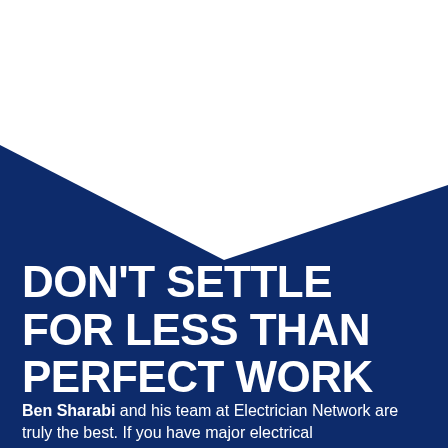[Figure (illustration): Dark navy blue background with a white angular chevron/triangle shape at the top, creating a geometric design. The white shape points downward in the center, with the dark navy blue filling the rest of the page.]
DON'T SETTLE FOR LESS THAN PERFECT WORK
Ben Sharabi  and his team at Electrician Network are truly the best. If you have major electrical